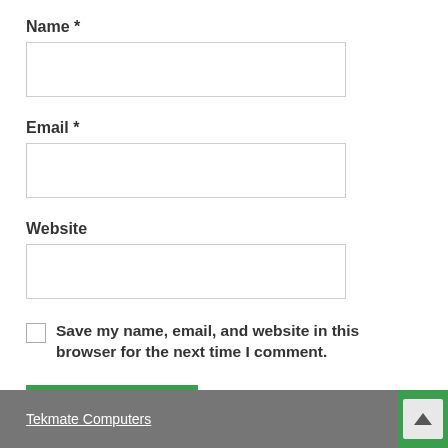Name *
[Figure (other): Empty text input box for Name field]
Email *
[Figure (other): Empty text input box for Email field]
Website
[Figure (other): Empty text input box for Website field]
Save my name, email, and website in this browser for the next time I comment.
POST COMMENT
Tekmate Computers